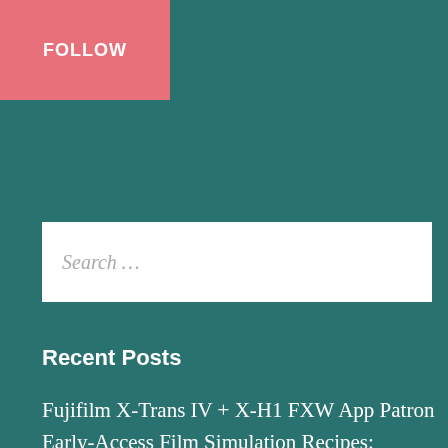FOLLOW
Search ...
Recent Posts
Fujifilm X-Trans IV + X-H1 FXW App Patron Early-Access Film Simulation Recipes: Vintage Eterna
Fujifilm X-Trans III + X-T3 & X-T30 Film Simulation Recipe: Vintage Kodacolor
Sell That Sh*t & Buy A Fuji — An Interview with Gerardo